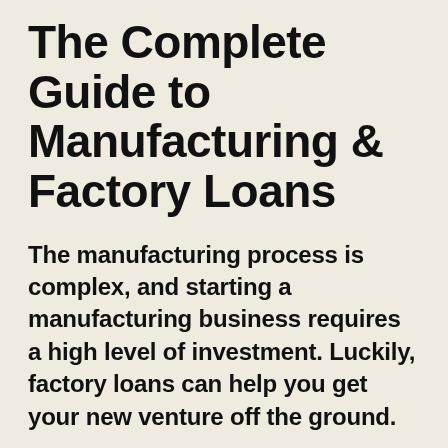The Complete Guide to Manufacturing & Factory Loans
The manufacturing process is complex, and starting a manufacturing business requires a high level of investment. Luckily, factory loans can help you get your new venture off the ground.
Taking into account overheads, raw materials, factory costs and equipment, it's not uncommon for manufacturers to spend hefty six-figure sums to just get